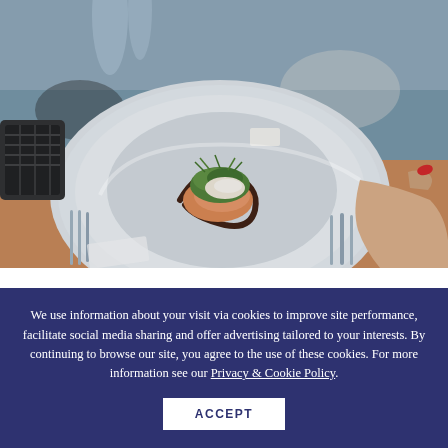[Figure (photo): Restaurant dining scene: a gourmet plated dish with greens and sauce on a large white plate being held by a hand with red nail polish, surrounded by cutlery, glasses, and table settings in a warm restaurant setting.]
We use information about your visit via cookies to improve site performance, facilitate social media sharing and offer advertising tailored to your interests. By continuing to browse our site, you agree to the use of these cookies. For more information see our Privacy & Cookie Policy.
ACCEPT